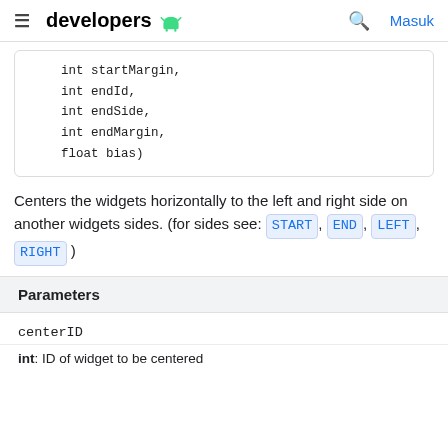developers [android logo] | [search] Masuk
int startMargin,
    int endId,
    int endSide,
    int endMargin,
    float bias)
Centers the widgets horizontally to the left and right side on another widgets sides. (for sides see: START, END, LEFT, RIGHT )
| Parameters |
| --- |
| centerID |
| int: ID of widget to be centered |